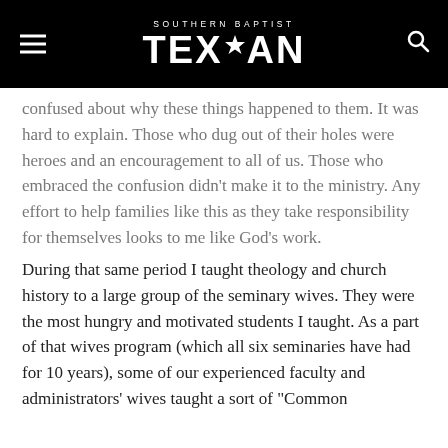SOUTHERN BAPTIST TEXAN
confused about why these things happened to them. It was hard to explain. Those who dug out of their holes were heroes and an encouragement to all of us. Those who embraced the confusion didn't make it to the ministry. Any effort to help families like this as they take responsibility for themselves looks to me like God's work.
During that same period I taught theology and church history to a large group of the seminary wives. They were the most hungry and motivated students I taught. As a part of that wives program (which all six seminaries have had for 10 years), some of our experienced faculty and administrators' wives taught a sort of "Common